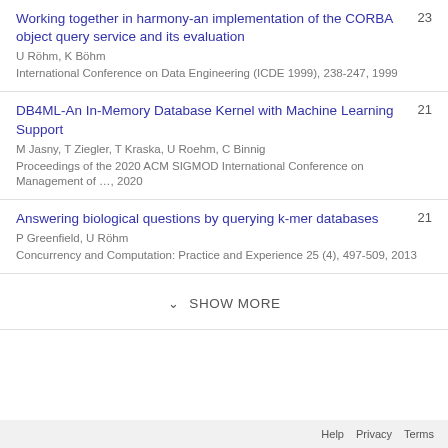Working together in harmony-an implementation of the CORBA object query service and its evaluation
U Röhm, K Böhm
International Conference on Data Engineering (ICDE 1999), 238-247, 1999
23
DB4ML-An In-Memory Database Kernel with Machine Learning Support
M Jasny, T Ziegler, T Kraska, U Roehm, C Binnig
Proceedings of the 2020 ACM SIGMOD International Conference on Management of …, 2020
21
Answering biological questions by querying k-mer databases
P Greenfield, U Röhm
Concurrency and Computation: Practice and Experience 25 (4), 497-509, 2013
21
SHOW MORE
Help  Privacy  Terms